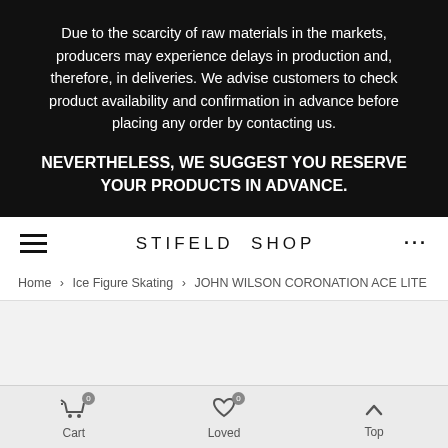Due to the scarcity of raw materials in the markets, producers may experience delays in production and, therefore, in deliveries. We advise customers to check product availability and confirmation in advance before placing any order by contacting us.
NEVERTHELESS, WE SUGGEST YOU RESERVE YOUR PRODUCTS IN ADVANCE.
STIFELD SHOP
Home > Ice Figure Skating > JOHN WILSON CORONATION ACE LITE
Cart  Loved  Top